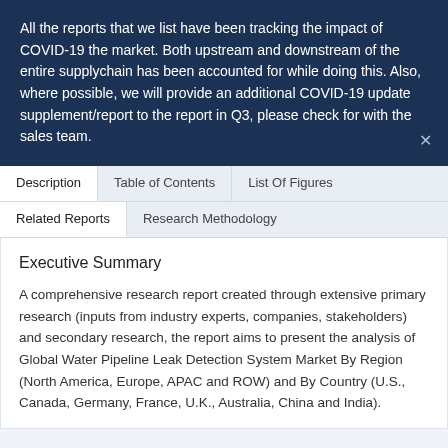All the reports that we list have been tracking the impact of COVID-19 the market. Both upstream and downstream of the entire supplychain has been accounted for while doing this. Also, where possible, we will provide an additional COVID-19 update supplement/report to the report in Q3, please check for with the sales team.
Description | Table of Contents | List Of Figures | Related Reports | Research Methodology
Executive Summary
A comprehensive research report created through extensive primary research (inputs from industry experts, companies, stakeholders) and secondary research, the report aims to present the analysis of Global Water Pipeline Leak Detection System Market By Region (North America, Europe, APAC and ROW) and By Country (U.S., Canada, Germany, France, U.K., Australia, China and India).